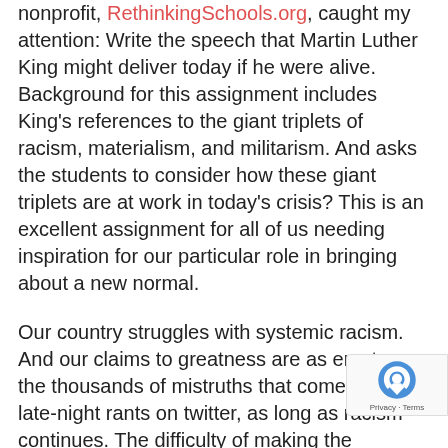nonprofit, RethinkingSchools.org, caught my attention: Write the speech that Martin Luther King might deliver today if he were alive. Background for this assignment includes King's references to the giant triplets of racism, materialism, and militarism. And asks the students to consider how these giant triplets are at work in today's crisis? This is an excellent assignment for all of us needing inspiration for our particular role in bringing about a new normal.
Our country struggles with systemic racism. And our claims to greatness are as empty as the thousands of mistruths that come out as late-night rants on twitter, as long as racism continues. The difficulty of making the changes necessary to move us substantially closer to